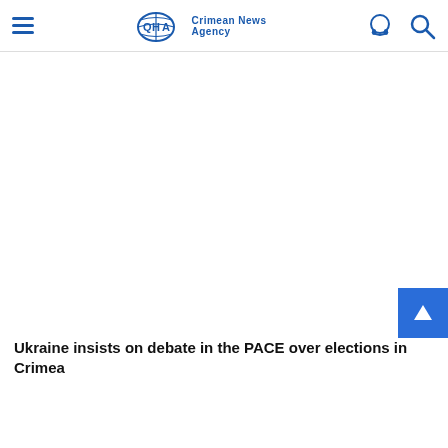QHA Crimean News Agency
Ukraine insists on debate in the PACE over elections in Crimea